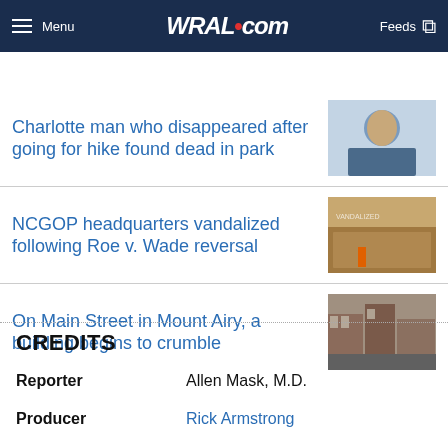WRAL.com — Menu | Feeds
for Great Deals at Best Buy®  SHOP NOW
Charlotte man who disappeared after going for hike found dead in park
NCGOP headquarters vandalized following Roe v. Wade reversal
On Main Street in Mount Airy, a building begins to crumble
CREDITS
Reporter    Allen Mask, M.D.
Producer    Rick Armstrong